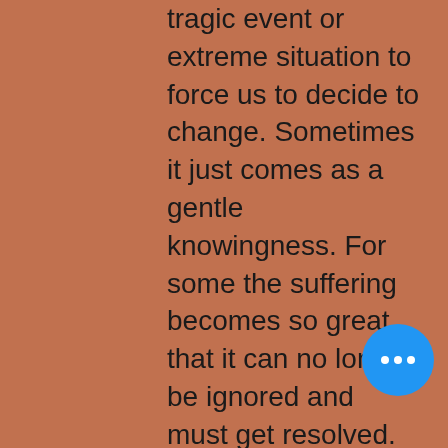tragic event or extreme situation to force us to decide to change. Sometimes it just comes as a gentle knowingness. For some the suffering becomes so great that it can no longer be ignored and must get resolved. Regardless of the reason, you decide that it's time to end your suffering and you are really going to make the effort to do so.
3) Search - Now that you've realized that you are in fact suffering and you've decided your going to try to do something about this, it is time to get motivated to search for answers. We are fortuitous to be living in an age of information. The internet has an amazing resource for information.